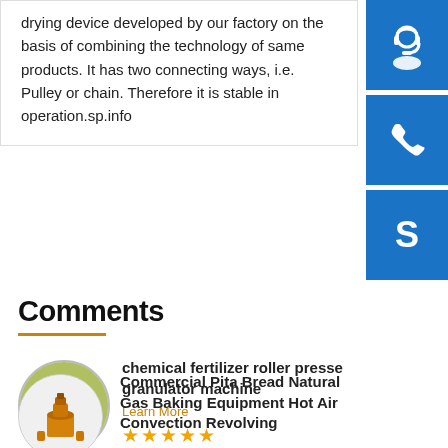drying device developed by our factory on the basis of combining the technology of same products. It has two connecting ways, i.e. Pulley or chain. Therefore it is stable in operation.sp.info
[Figure (illustration): Blue square button with white headset/customer support icon]
[Figure (illustration): Blue square button with white phone icon]
[Figure (illustration): Blue square button with white Skype S icon]
Comments
[Figure (photo): Circular thumbnail image of green chemical fertilizer roller press granulator machines]
chemical fertilizer roller presse granulator machine
Learn More
★★★★★
chemical fertilizer roller pressed granulator machine
[Figure (photo): Circular thumbnail image of yellow/orange commercial equipment machine]
Commercial Pita Bread Natural Gas Baking Equipment Hot Air Convection Revolving